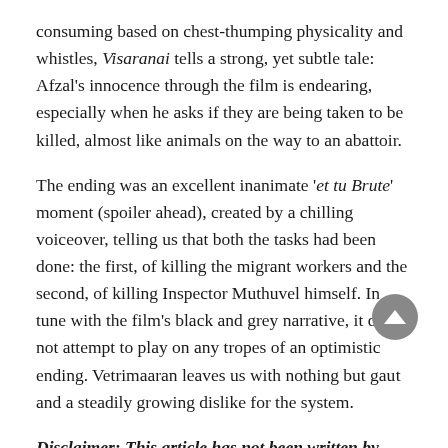consuming based on chest-thumping physicality and whistles, Visaranai tells a strong, yet subtle tale: Afzal's innocence through the film is endearing, especially when he asks if they are being taken to be killed, almost like animals on the way to an abattoir.
The ending was an excellent inanimate 'et tu Brute' moment (spoiler ahead), created by a chilling voiceover, telling us that both the tasks had been done: the first, of killing the migrant workers and the second, of killing Inspector Muthuvel himself. In tune with the film's black and grey narrative, it does not attempt to play on any tropes of an optimistic ending. Vetrimaaran leaves us with nothing but gaut and a steadily growing dislike for the system.
Disclaimer: This article has not been written by Film